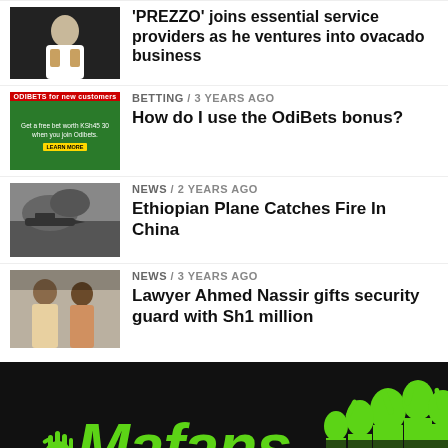[Figure (photo): Thumbnail of Prezzo artist]
'PREZZO' joins essential service providers as he ventures into ovacado business
[Figure (photo): OdiBets green advertisement banner]
BETTING / 3 years ago
How do I use the OdiBets bonus?
[Figure (photo): Ethiopian plane fire image]
NEWS / 2 years ago
Ethiopian Plane Catches Fire In China
[Figure (photo): Lawyer Ahmed Nassir with security guard]
NEWS / 3 years ago
Lawyer Ahmed Nassir gifts security guard with Sh1 million
[Figure (logo): Mafans.com logo in green on black background]